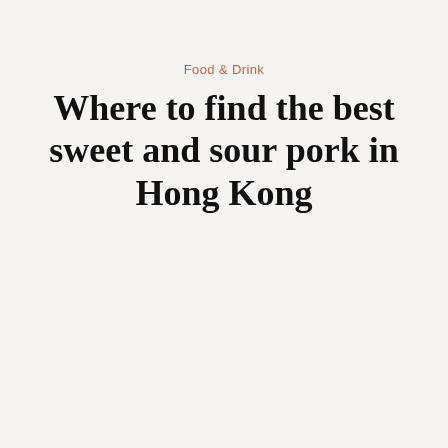Food & Drink
Where to find the best sweet and sour pork in Hong Kong